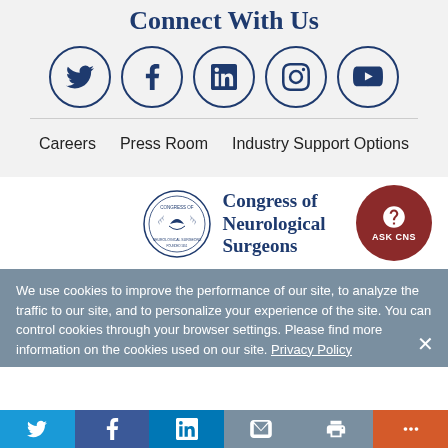Connect With Us
[Figure (infographic): Five social media icons in circles: Twitter, Facebook, LinkedIn, Instagram, YouTube]
Careers   Press Room   Industry Support Options
[Figure (logo): Congress of Neurological Surgeons logo with seal and text, plus ASK CNS red circle button]
We use cookies to improve the performance of our site, to analyze the traffic to our site, and to personalize your experience of the site. You can control cookies through your browser settings. Please find more information on the cookies used on our site. Privacy Policy
[Figure (infographic): Social share bar with Twitter, Facebook, LinkedIn, Email, Print, and More buttons]